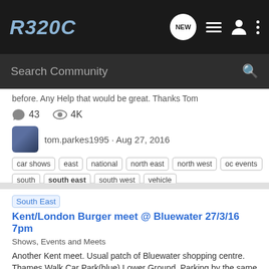R320C — navigation bar with logo, NEW bubble, list icon, person icon, dots menu
Search Community
before. Any Help that would be great. Thanks Tom
43 comments  4K views
tom.parkes1995 · Aug 27, 2016
car shows
east
national
north east
north west
oc events
south
south east
south west
vehicle
South East  Kent/London Burger meet @ Bluewater 27/3/16 7pm
Shows, Events and Meets
Another Kent meet. Usual patch of Bluewater shopping centre. Thames Walk Car Park(blue) Lower Ground. Parking by the same area as the Red Car Valet area Then shall a really short sprited drive around to the Open air car park